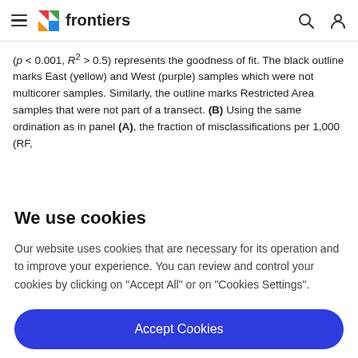frontiers
(p < 0.001, R² > 0.5) represents the goodness of fit. The black outline marks East (yellow) and West (purple) samples which were not multicorer samples. Similarly, the outline marks Restricted Area samples that were not part of a transect. (B) Using the same ordination as in panel (A), the fraction of misclassifications per 1,000 (RF,
We use cookies
Our website uses cookies that are necessary for its operation and to improve your experience. You can review and control your cookies by clicking on "Accept All" or on "Cookies Settings".
Accept Cookies
Cookies Settings